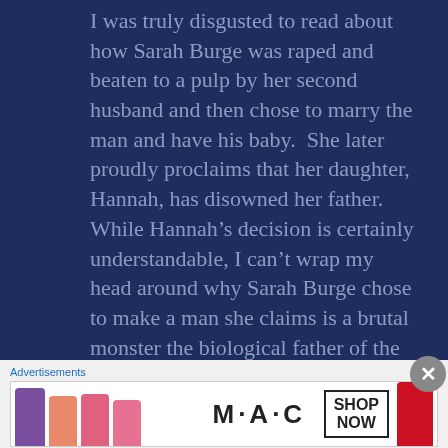I was truly disgusted to read about how Sarah Burge was raped and beaten to a pulp by her second husband and then chose to marry the man and have his baby.  She later proudly proclaims that her daughter, Hannah, has disowned her father.  While Hannah's decision is certainly understandable, I can't wrap my head around why Sarah Burge chose to make a man she claims is a brutal monster the biological father of the child she claims to love.  Seems to me that if you really love your children, you
Advertisements
[Figure (photo): MAC Cosmetics advertisement showing colorful lipsticks (purple, pink, coral, red) next to the MAC logo and a 'SHOP NOW' call-to-action box.]